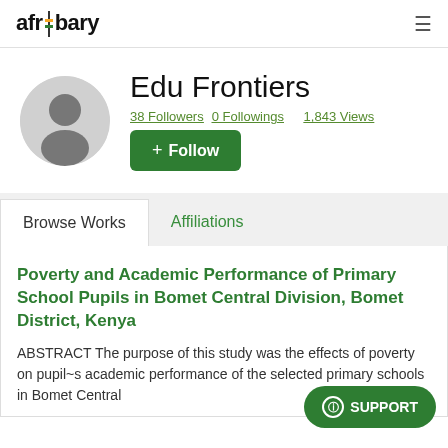afribary
[Figure (photo): Default user avatar silhouette in a grey circle]
Edu Frontiers
38 Followers  0 Followings  1,843 Views
+ Follow
Browse Works
Affiliations
Poverty and Academic Performance of Primary School Pupils in Bomet Central Division, Bomet District, Kenya
ABSTRACT The purpose of this study was the effects of poverty on pupil~s academic performance of the selected primary schools in Bomet Central